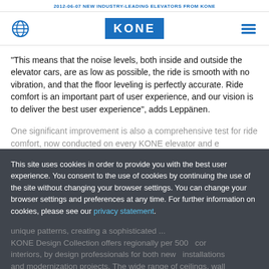2012-06-07 NEW INDUSTRY-LEADING ELEVATORS FROM KONE
[Figure (logo): KONE logo with globe icon and hamburger menu in navigation bar]
"This means that the noise levels, both inside and outside the elevator cars, are as low as possible, the ride is smooth with no vibration, and that the floor leveling is perfectly accurate. Ride comfort is an important part of user experience, and our vision is to deliver the best user experience", adds Leppänen.
One significant improvement is also a comprehensive test for ride comfort, now conducted on every KONE elevator and e
This site uses cookies in order to provide you with the best user experience. You consent to the use of cookies by continuing the use of the site without changing your browser settings. You can change your browser settings and preferences at any time. For further information on cookies, please see our privacy statement.
unique patterns, creating a sophisticated ... KONE Design Collection offers regionally per 500 cor interiors, by design professionals for both new installations and modernization projects. The wide range of ceilings, wall materials, floors, handrails, mirrors and other accessories